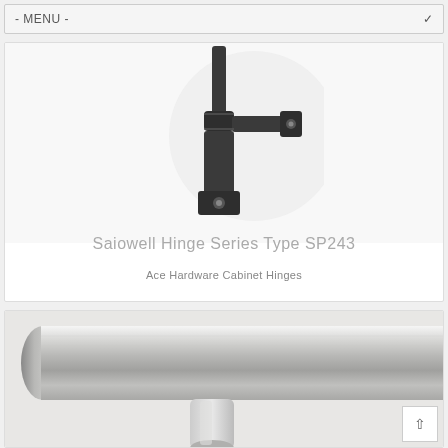- MENU -
[Figure (photo): Dark gray/black metal cabinet hinge component (Saiowell Hinge Series Type SP243) showing the hinge joint with two screw holes, photographed against a white circular background on light gray]
Saiowell Hinge Series Type SP243
Ace Hardware Cabinet Hinges
[Figure (photo): Close-up photograph of a brushed stainless steel T-bar cabinet handle/pull, showing the cylindrical bar and mounting post, with a satin/brushed nickel finish]